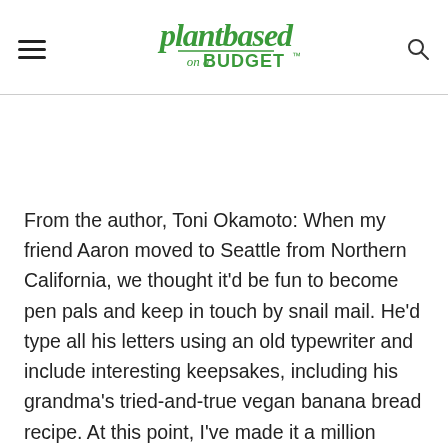plantbased on a BUDGET
From the author, Toni Okamoto: When my friend Aaron moved to Seattle from Northern California, we thought it’d be fun to become pen pals and keep in touch by snail mail. He’d type all his letters using an old typewriter and include interesting keepsakes, including his grandma’s tried-and-true vegan banana bread recipe. At this point, I’ve made it a million times, and the only change I’ve made was replacing the commercial egg substitute with